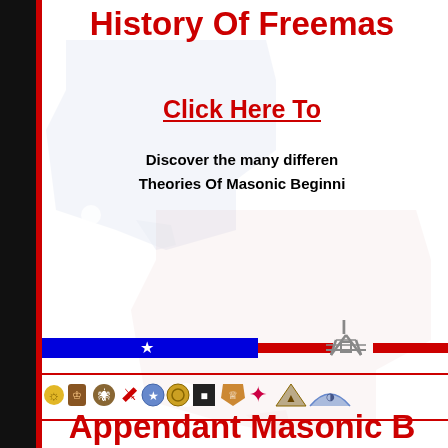History Of Freemas...
Click Here To
Discover the many different Theories Of Masonic Beginni...
[Figure (illustration): Decorative divider bar with blue segment containing white star, red segments, and Masonic square-and-compass symbol]
[Figure (illustration): Row of Masonic and appendant body icons/logos]
Appendant Masonic B...
Click Here To
Learn about The Organizations...